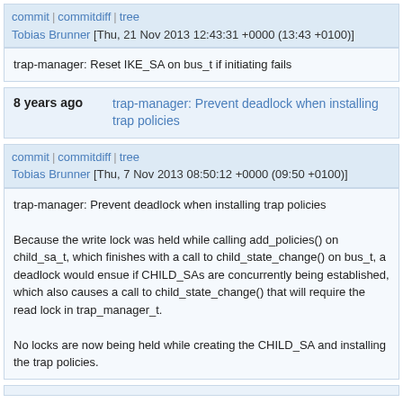commit | commitdiff | tree
Tobias Brunner [Thu, 21 Nov 2013 12:43:31 +0000 (13:43 +0100)]
trap-manager: Reset IKE_SA on bus_t if initiating fails
8 years ago   trap-manager: Prevent deadlock when installing trap policies
commit | commitdiff | tree
Tobias Brunner [Thu, 7 Nov 2013 08:50:12 +0000 (09:50 +0100)]
trap-manager: Prevent deadlock when installing trap policies

Because the write lock was held while calling add_policies() on child_sa_t, which finishes with a call to child_state_change() on bus_t, a deadlock would ensue if CHILD_SAs are concurrently being established, which also causes a call to child_state_change() that will require the read lock in trap_manager_t.

No locks are now being held while creating the CHILD_SA and installing the trap policies.